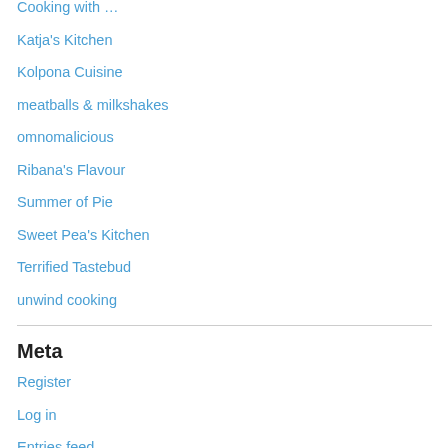Cooking with …
Katja's Kitchen
Kolpona Cuisine
meatballs & milkshakes
omnomalicious
Ribana's Flavour
Summer of Pie
Sweet Pea's Kitchen
Terrified Tastebud
unwind cooking
Meta
Register
Log in
Entries feed
Comments feed
WordPress.com